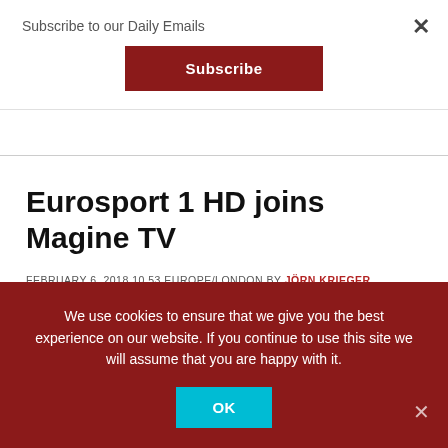Subscribe to our Daily Emails
Subscribe
Eurosport 1 HD joins Magine TV
FEBRUARY 6, 2018 10.53 EUROPE/LONDON BY JÖRN KRIEGER
We use cookies to ensure that we give you the best experience on our website. If you continue to use this site we will assume that you are happy with it.
OK